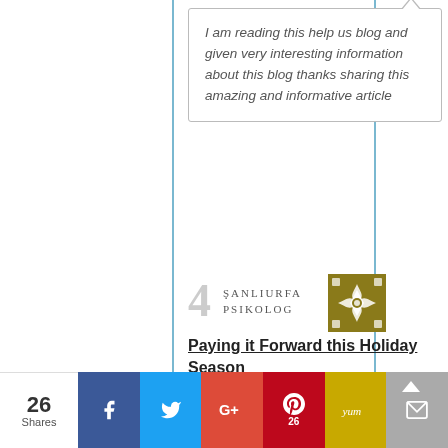I am reading this help us blog and given very interesting information about this blog thanks sharing this amazing and informative article
[Figure (logo): Sanliurfa Psikolog website logo - decorative star/flower pattern in olive/gold color]
4  Şanliurfa Psikolog
Paying it Forward this Holiday Season
thanks for sharing. i love this site
5  Bill H. Jackson
[Figure (screenshot): Social share bar at bottom with Facebook, Twitter, Google+, Pinterest (26), Yummly, and Email buttons. Shows 26 total shares.]